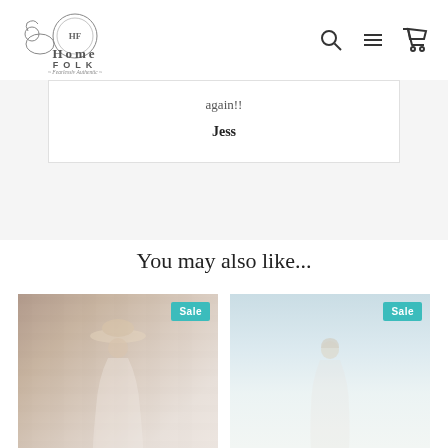[Figure (logo): Home Folk logo - Fearlessly Authentic brand with decorative animal illustration]
again!!
Jess
You may also like...
[Figure (photo): Woman in white dress and hat against stone wall background, Sale badge]
[Figure (photo): Woman in outdoor setting with light background, Sale badge]